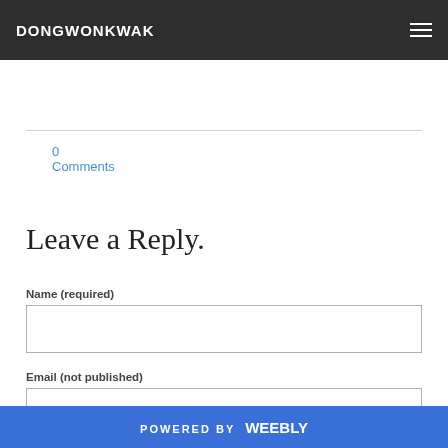DONGWONKWAK
0 Comments
Leave a Reply.
Name (required)
Email (not published)
POWERED BY weebly